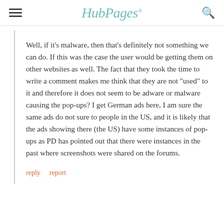HubPages
Well, if it's malware, then that's definitely not something we can do. If this was the case the user would be getting them on other websites as well. The fact that they took the time to write a comment makes me think that they are not "used" to it and therefore it does not seem to be adware or malware causing the pop-ups? I get German ads here, I am sure the same ads do not sure to people in the US, and it is likely that the ads showing there (the US) have some instances of pop-ups as PD has pointed out that there were instances in the past where screenshots were shared on the forums.
reply
report